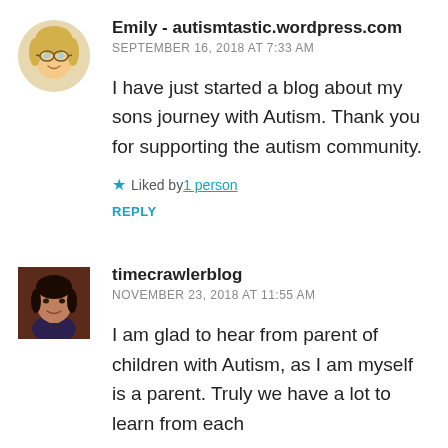[Figure (illustration): Avatar of Emily - a cartoon/illustration of a blonde woman with glasses]
Emily - autismtastic.wordpress.com
SEPTEMBER 16, 2018 AT 7:33 AM
I have just started a blog about my sons journey with Autism. Thank you for supporting the autism community.
Liked by 1 person
REPLY
[Figure (photo): Avatar photo of timecrawlerblog - a woman with dark hair]
timecrawlerblog
NOVEMBER 23, 2018 AT 11:55 AM
I am glad to hear from parent of children with Autism, as I am myself is a parent. Truly we have a lot to learn from each